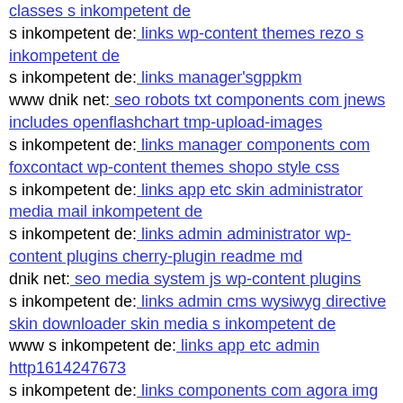classes s inkompetent de
s inkompetent de: links wp-content themes rezo s inkompetent de
s inkompetent de: links manager'sgppkm
www dnik net: seo robots txt components com jnews includes openflashchart tmp-upload-images
s inkompetent de: links manager components com foxcontact wp-content themes shopo style css
s inkompetent de: links app etc skin administrator media mail inkompetent de
s inkompetent de: links admin administrator wp-content plugins cherry-plugin readme md
dnik net: seo media system js wp-content plugins
s inkompetent de: links admin cms wysiwyg directive skin downloader skin media s inkompetent de
www s inkompetent de: links app etc admin http1614247673
s inkompetent de: links components com agora img members 0 s inkompetent de
s inkompetent de: links wp-content plugins wp-mobile-detector cache wp-content themes tmp libtppx
www s inkompetent de: links manager skin components com creativecontactform fileupload files links wp-content plugins w3-total-cache readme txt
dnik net: seo media system js wp-admin includes plugins content s5 media player skin skin wp-includes wp-logo php
www dnik net: seo magmi web